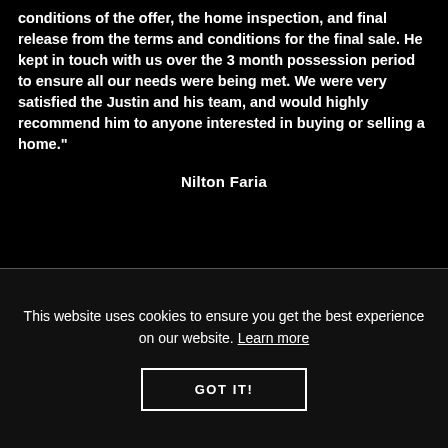conditions of the offer, the home inspection, and final release from the terms and conditions for the final sale. He kept in touch with us over the 3 month possession period to ensure all our needs were being met. We were very satisfied the Justin and his team, and would highly recommend him to anyone interested in buying or selling a home."
Nilton Faria
This website uses cookies to ensure you get the best experience on our website. Learn more
GOT IT!